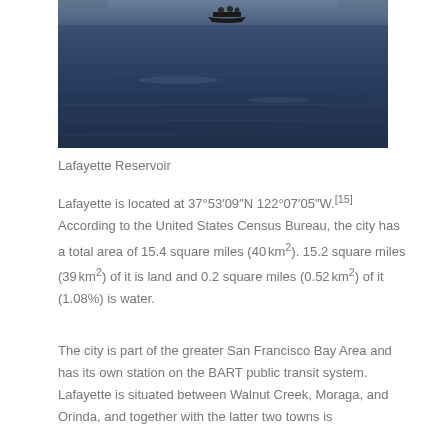[Figure (photo): Photograph of Lafayette Reservoir showing blue water with a small boat carrying people in the distance, viewed from shore level.]
Lafayette Reservoir
Lafayette is located at 37°53′09″N 122°07′05″W.[15] According to the United States Census Bureau, the city has a total area of 15.4 square miles (40 km²). 15.2 square miles (39 km²) of it is land and 0.2 square miles (0.52 km²) of it (1.08%) is water.
The city is part of the greater San Francisco Bay Area and has its own station on the BART public transit system. Lafayette is situated between Walnut Creek, Moraga, and Orinda, and together with the latter two towns is